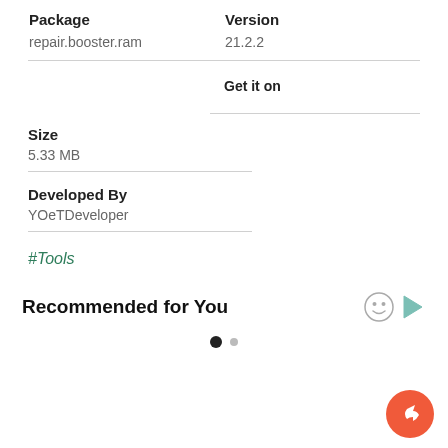| Package | Version |
| --- | --- |
| repair.booster.ram | 21.2.2 |
Get it on
Size
5.33 MB
Developed By
YOeTDeveloper
#Tools
Recommended for You